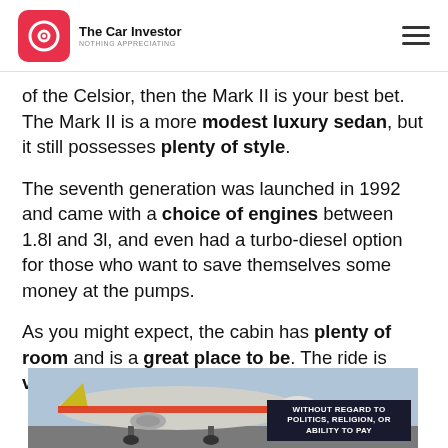The Car Investor — NOTHING APPRECIATING
of the Celsior, then the Mark II is your best bet. The Mark II is a more modest luxury sedan, but it still possesses plenty of style.
The seventh generation was launched in 1992 and came with a choice of engines between 1.8l and 3l, and even had a turbo-diesel option for those who want to save themselves some money at the pumps.
As you might expect, the cabin has plenty of room and is a great place to be. The ride is very comfortable and the car offers plenty of...
[Figure (photo): Advertisement banner showing a cargo airplane being loaded on a runway, with text overlay 'WITHOUT REGARD TO POLITICS, RELIGION, OR ABILITY TO PAY']